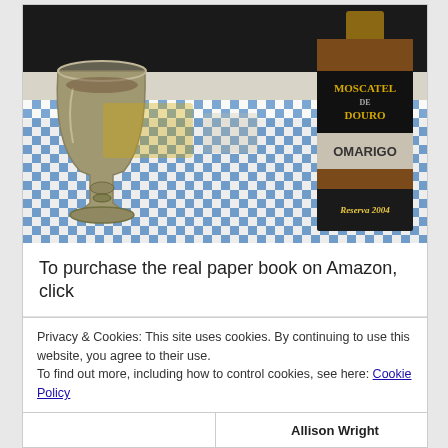[Figure (photo): Photo of a silver/pewter goblet chalice on a blue and white checkered tablecloth, next to a wine bottle labeled 'Moscatel de Douro, Omarigo, Reserva 2004']
To purchase the real paper book on Amazon, click
Privacy & Cookies: This site uses cookies. By continuing to use this website, you agree to their use.
To find out more, including how to control cookies, see here: Cookie Policy
Close and accept
Allison Wright